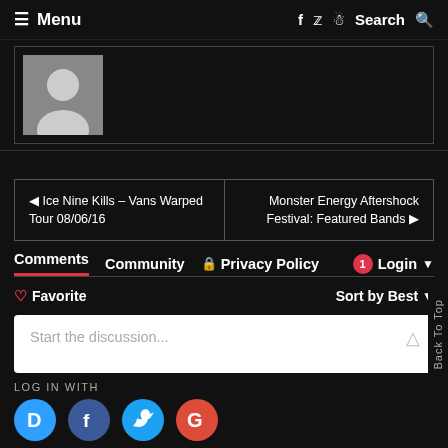≡ Menu   f  🐦  📷  Search 🔍
[Figure (photo): User avatar placeholder — silhouette of person on grey background, inside a bordered box]
◄ Ice Nine Kills – Vans Warped Tour 08/06/16     Monster Energy Aftershock Festival: Featured Bands ►
Comments   Community   🔒 Privacy Policy   1 Login ▼
♡ Favorite    Sort by Best ▼
Start the discussion...
LOG IN WITH
[Figure (logo): Four social login icons: Disqus (D, blue circle), Facebook (f, dark blue circle), Twitter (bird, light blue circle), Google (G, red circle)]
OR SIGN UP WITH DISQUS ?
Back To Top